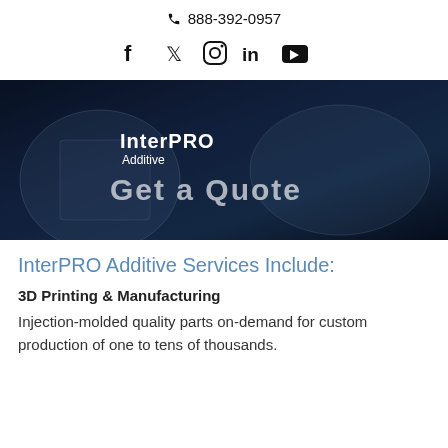888-392-0957
[Figure (other): Social media icons: Facebook, Twitter, Instagram, LinkedIn, YouTube]
[Figure (photo): Dark blue/navy hero image showing 3D printed transparent plastic parts with text overlay: InterPRO Additive logo and Get a Quote]
InterPRO Additive Services Include:
3D Printing & Manufacturing
Injection-molded quality parts on-demand for custom production of one to tens of thousands.